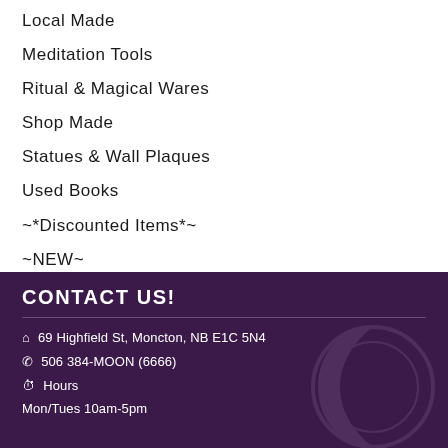Local Made
Meditation Tools
Ritual & Magical Wares
Shop Made
Statues & Wall Plaques
Used Books
~*Discounted Items*~
~NEW~
CONTACT US!
69 Highfield St, Moncton, NB E1C 5N4
506 384-MOON (6666)
Hours
Mon/Tues 10am-5pm